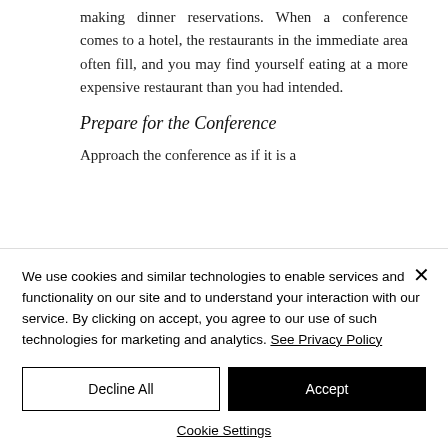making dinner reservations. When a conference comes to a hotel, the restaurants in the immediate area often fill, and you may find yourself eating at a more expensive restaurant than you had intended.
Prepare for the Conference
Approach the conference as if it is a
We use cookies and similar technologies to enable services and functionality on our site and to understand your interaction with our service. By clicking on accept, you agree to our use of such technologies for marketing and analytics. See Privacy Policy
Decline All
Accept
Cookie Settings